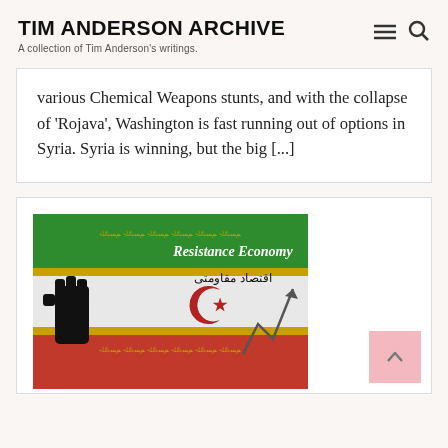TIM ANDERSON ARCHIVE
A collection of Tim Anderson's writings.
various Chemical Weapons stunts, and with the collapse of 'Rojava', Washington is fast running out of options in Syria. Syria is winning, but the big [...]
[Figure (photo): Image showing Iranian flag with 'Resistance Economy' text in English and Arabic (اقتصاد مقاومتی), a raised fist, the emblem of Iran, and an upward arrow graphic.]